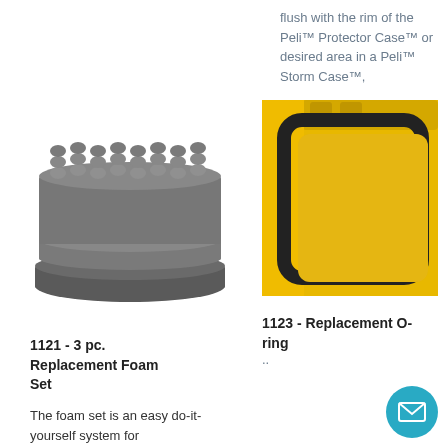flush with the rim of the Peli™ Protector Case™ or desired area in a Peli™ Storm Case™,
..
[Figure (photo): Gray convoluted foam set (3 pieces stacked) - replacement foam for Peli cases]
[Figure (photo): Close-up of yellow Peli case corner showing black O-ring/seal]
1121 - 3 pc. Replacement Foam Set
1123 - Replacement O-ring
The foam set is an easy do-it-yourself system for
..
[Figure (other): Teal/cyan circular email contact button with envelope icon]